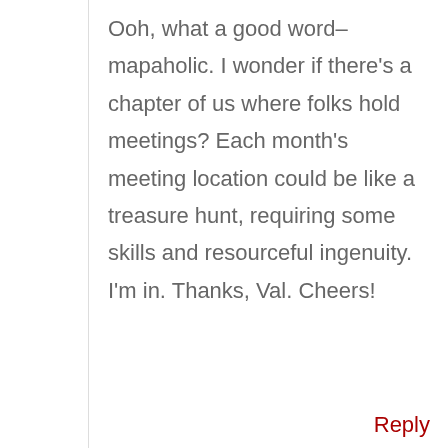Ooh, what a good word–mapaholic. I wonder if there's a chapter of us where folks hold meetings? Each month's meeting location could be like a treasure hunt, requiring some skills and resourceful ingenuity. I'm in. Thanks, Val. Cheers!
Reply